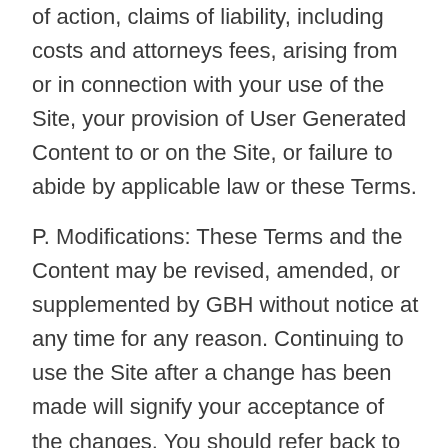of action, claims of liability, including costs and attorneys fees, arising from or in connection with your use of the Site, your provision of User Generated Content to or on the Site, or failure to abide by applicable law or these Terms.
P. Modifications: These Terms and the Content may be revised, amended, or supplemented by GBH without notice at any time for any reason. Continuing to use the Site after a change has been made will signify your acceptance of the changes. You should refer back to this page for future updates.